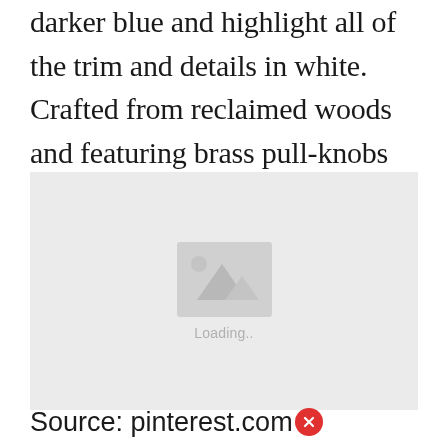darker blue and highlight all of the trim and details in white. Crafted from reclaimed woods and featuring brass pull-knobs this table will last you for years to come.
[Figure (photo): Image placeholder with a grey background, a mountain/photo icon in the center, and 'Loading..' text below the icon.]
Source: pinterest.com